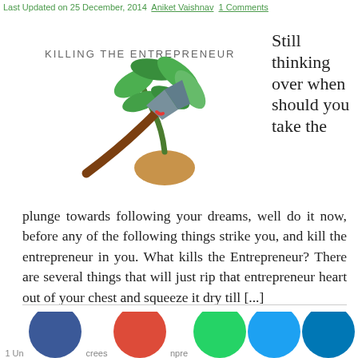Last Updated on 25 December, 2014  Aniket Vaishnav  1 Comments
[Figure (illustration): Illustration titled 'KILLING THE ENTREPRENEUR' showing an axe chopping a small plant/sapling growing from a seed.]
Still thinking over when should you take the plunge towards following your dreams, well do it now, before any of the following things strike you, and kill the entrepreneur in you. What kills the Entrepreneur? There are several things that will just rip that entrepreneur heart out of your chest and squeeze it dry till [...]
social sharing icons: Facebook, Google+, WhatsApp, Twitter, LinkedIn